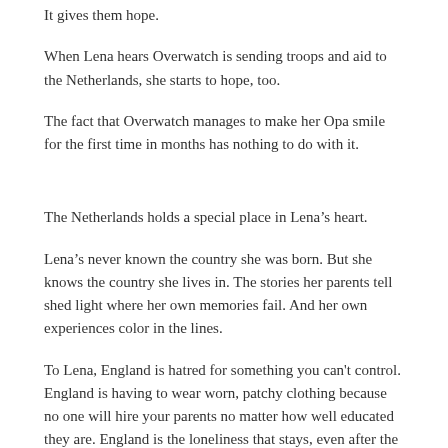It gives them hope.
When Lena hears Overwatch is sending troops and aid to the Netherlands, she starts to hope, too.
The fact that Overwatch manages to make her Opa smile for the first time in months has nothing to do with it.
The Netherlands holds a special place in Lena’s heart.
Lena’s never known the country she was born. But she knows the country she lives in. The stories her parents tell shed light where her own memories fail. And her own experiences color in the lines.
To Lena, England is hatred for something you can't control. England is having to wear worn, patchy clothing because no one will hire your parents no matter how well educated they are. England is the loneliness that stays, even after the bully leaves.
But the Netherlands?